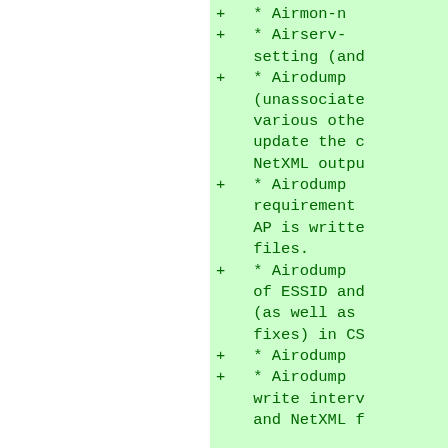+   * Airmon-n
+   * Airserv-
    setting (and
+   * Airodump
    (unassociate
    various othe
    update the c
    NetXML outpu
+   * Airodump
    requirement
    AP is writte
    files.
+   * Airodump
    of ESSID and
    (as well as
    fixes) in CS
+   * Airodump
+   * Airodump
    write interv
    and NetXML f